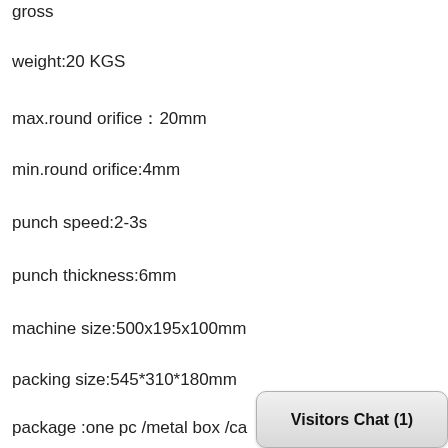gross
weight:20 KGS
max.round orifice：20mm
min.round orifice:4mm
punch speed:2-3s
punch thickness:6mm
machine size:500x195x100mm
packing size:545*310*180mm
package :one pc /metal box /ca
[Figure (screenshot): Visitors Chat (1) button overlay in bottom right corner]